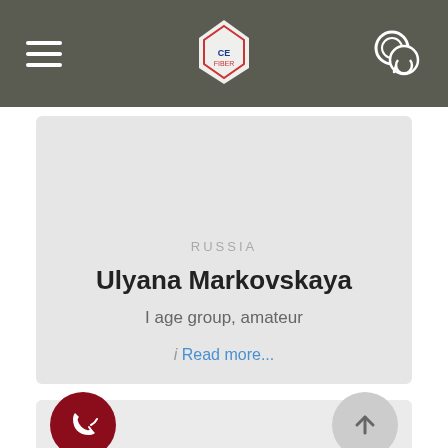Navigation header with hamburger menu, logo, and chat icon
RUSSIA
Ulyana Markovskaya
I age group, amateur
i Read more...
[Figure (other): Phone/contact button (dark red circle with phone icon) and scroll-to-top button (gray circle with up arrow)]